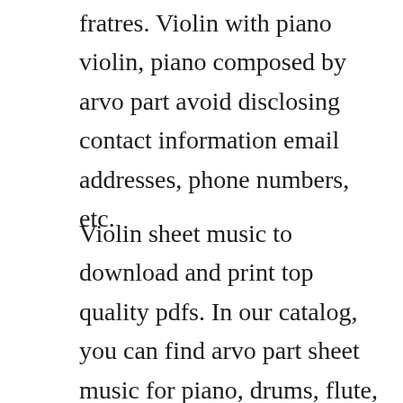fratres. Violin with piano violin, piano composed by arvo part avoid disclosing contact information email addresses, phone numbers, etc.
Violin sheet music to download and print top quality pdfs. In our catalog, you can find arvo part sheet music for piano, drums, flute, saxophone, trumpet, guitar and almost any other instrument. If you are an adult piano player and want to show off your child who has been studying the violin for a couple of years, this book may work for you. Arvo part